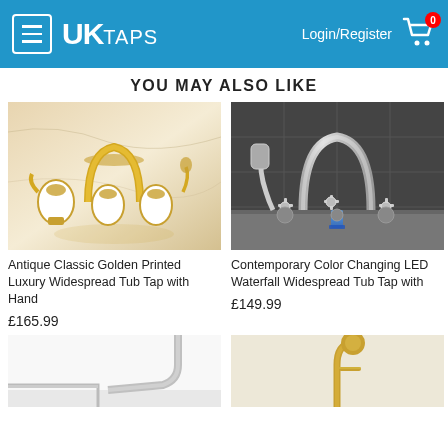UKTaps - Login/Register - Cart 0
YOU MAY ALSO LIKE
[Figure (photo): Antique Classic Golden Printed Luxury Widespread Tub Tap with Hand shower - gold and white ceramic tap set on marble surface]
Antique Classic Golden Printed Luxury Widespread Tub Tap with Hand
£165.99
[Figure (photo): Contemporary Color Changing LED Waterfall Widespread Tub Tap with - chrome/silver tap with blue LED light on dark grey surface]
Contemporary Color Changing LED Waterfall Widespread Tub Tap with
£149.99
[Figure (photo): Chrome basin tap - partial view showing chrome faucet against white background]
[Figure (photo): Gold/brass freestanding tap - partial view showing gold tap handle]